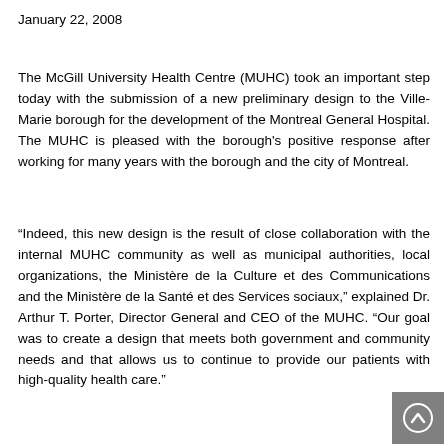January 22, 2008
The McGill University Health Centre (MUHC) took an important step today with the submission of a new preliminary design to the Ville-Marie borough for the development of the Montreal General Hospital. The MUHC is pleased with the borough's positive response after working for many years with the borough and the city of Montreal.
“Indeed, this new design is the result of close collaboration with the internal MUHC community as well as municipal authorities, local organizations, the Ministère de la Culture et des Communications and the Ministère de la Santé et des Services sociaux,” explained Dr. Arthur T. Porter, Director General and CEO of the MUHC. “Our goal was to create a design that meets both government and community needs and that allows us to continue to provide our patients with high-quality health care.”